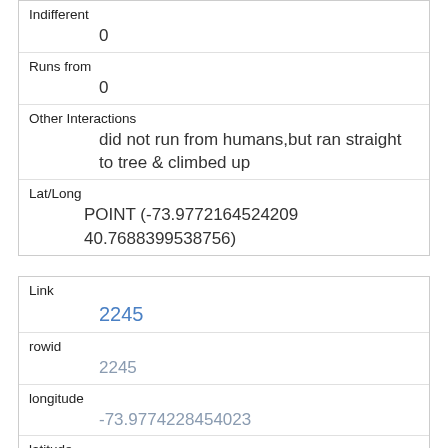| Indifferent | 0 |
| Runs from | 0 |
| Other Interactions | did not run from humans,but ran straight to tree & climbed up |
| Lat/Long | POINT (-73.9772164524209 40.7688399538756) |
| Link | 2245 |
| rowid | 2245 |
| longitude | -73.9774228454023 |
| latitude | 40.7686399839016 |
| Unique Squirrel ID | 3D-AM-1006-05 |
| Hectare |  |